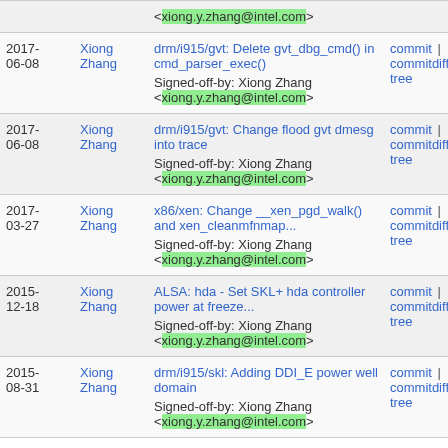| Date | Author | Description | Links |
| --- | --- | --- | --- |
|  |  | <xiong.y.zhang@intel.com> |  |
| 2017-06-08 | Xiong Zhang | drm/i915/gvt: Delete gvt_dbg_cmd() in cmd_parser_exec()
Signed-off-by: Xiong Zhang <xiong.y.zhang@intel.com> | commit | commitdiff | tree |
| 2017-06-08 | Xiong Zhang | drm/i915/gvt: Change flood gvt dmesg into trace
Signed-off-by: Xiong Zhang <xiong.y.zhang@intel.com> | commit | commitdiff | tree |
| 2017-03-27 | Xiong Zhang | x86/xen: Change __xen_pgd_walk() and xen_cleanmfnmap...
Signed-off-by: Xiong Zhang <xiong.y.zhang@intel.com> | commit | commitdiff | tree |
| 2015-12-18 | Xiong Zhang | ALSA: hda - Set SKL+ hda controller power at freeze...
Signed-off-by: Xiong Zhang <xiong.y.zhang@intel.com> | commit | commitdiff | tree |
| 2015-08-31 | Xiong Zhang | drm/i915/skl: Adding DDI_E power well domain
Signed-off-by: Xiong Zhang <xiong.y.zhang@intel.com> | commit | commitdiff | tree |